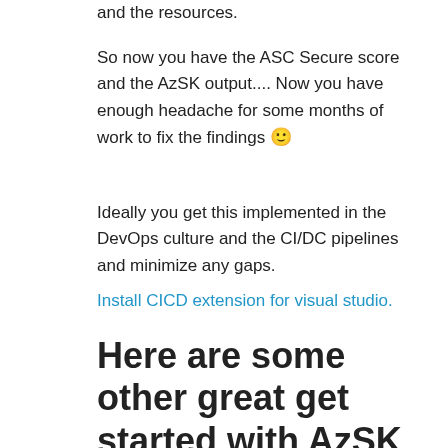and the resources.
So now you have the ASC Secure score and the AzSK output.... Now you have enough headache for some months of work to fix the findings 🙂
Ideally you get this implemented in the DevOps culture and the CI/DC pipelines and minimize any gaps.
Install CICD extension for visual studio.
Here are some other great get started with AzSK posts.